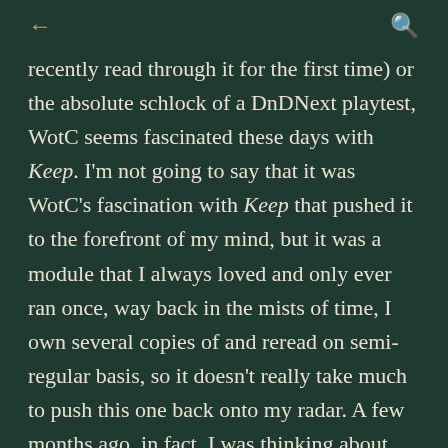← (back) | (search)
recently read through it for the first time) or the absolute schlock of a DnDNext playtest, WotC seems fascinated these days with Keep. I'm not going to say that it was WotC's fascination with Keep that pushed it to the forefront of my mind, but it was a module that I always loved and only ever ran once, way back in the mists of time, I own several copies of and reread on semi-regular basis, so it doesn't really take much to push this one back onto my radar. A few months ago, in fact, I was thinking about trying out Searchers of the Unknown with Keep on the Borderlands, but